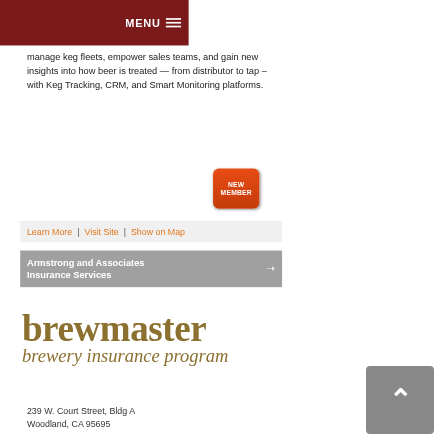MENU
manage keg fleets, empower sales teams, and gain new insights into how beer is treated — from distributor to tap – with Keg Tracking, CRM, and Smart Monitoring platforms.
[Figure (other): Red rounded button labeled NEW MEMBER]
Learn More | Visit Site | Show on Map
Armstrong and Associates Insurance Services
[Figure (logo): Brewmaster brewery insurance program logo in olive/tan serif font]
239 W. Court Street, Bldg A
Woodland, CA 95695